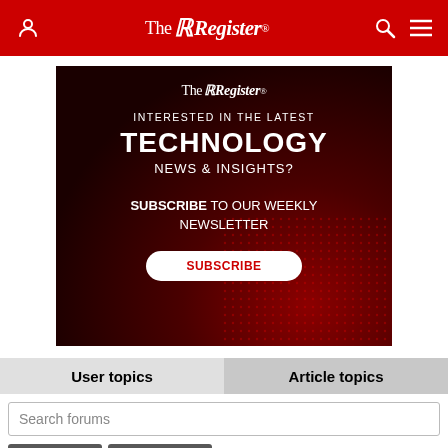The Register
[Figure (infographic): The Register newsletter subscription advertisement banner with dark red background and circuit/dot texture. Text reads: The Register, INTERESTED IN THE LATEST TECHNOLOGY NEWS & INSIGHTS? SUBSCRIBE TO OUR WEEKLY NEWSLETTER. White SUBSCRIBE button at bottom.]
User topics
Article topics
Search forums
Log in
Sign up
NASA to work on approved